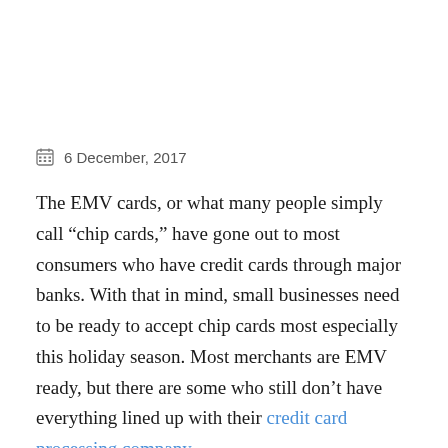6 December, 2017
The EMV cards, or what many people simply call “chip cards,” have gone out to most consumers who have credit cards through major banks. With that in mind, small businesses need to be ready to accept chip cards most especially this holiday season. Most merchants are EMV ready, but there are some who still don’t have everything lined up with their credit card processing company.
If your business doesn’t use EMV chip-enabled credit